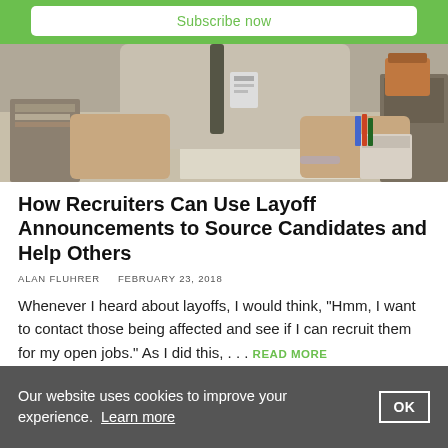Subscribe now
[Figure (photo): Person sitting at a desk covered in papers and files, with a red stapler visible, working in an office environment.]
How Recruiters Can Use Layoff Announcements to Source Candidates and Help Others
ALAN FLUHRER   FEBRUARY 23, 2018
Whenever I heard about layoffs, I would think, “Hmm, I want to contact those being affected and see if I can recruit them for my open jobs.” As I did this, . . . READ MORE
Our website uses cookies to improve your experience. Learn more